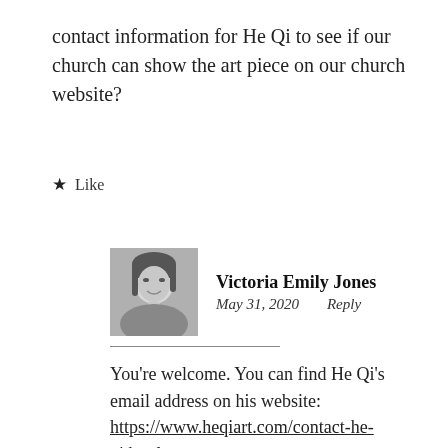contact information for He Qi to see if our church can show the art piece on our church website?
★ Like
[Figure (photo): Black and white profile photo of Victoria Emily Jones, a young woman smiling]
Victoria Emily Jones
May 31, 2020    Reply
You're welcome. You can find He Qi's email address on his website: https://www.heqiart.com/contact-he-qi.html.